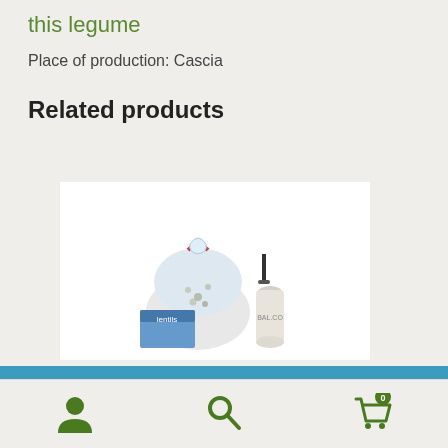this legume
Place of production: Cascia
Related products
[Figure (photo): Product image showing a bag and a ceramic bottle with food items, likely a legume gift set, on white background]
ℹ Spedizioni gratuite per tutti gli ordini superiori ai 99 euro
Dismiss
Navigation bar with user icon, search icon, and cart icon (0 items)